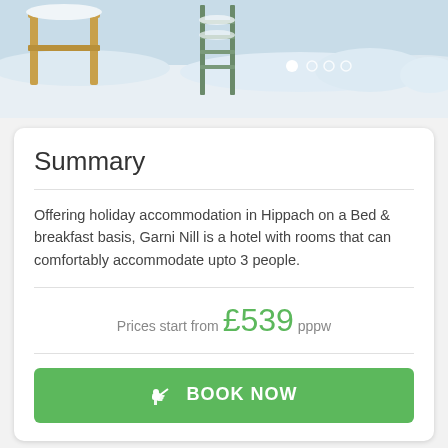[Figure (photo): Winter scene with snow-covered furniture and a ladder, serving as a hotel photo carousel header]
Summary
Offering holiday accommodation in Hippach on a Bed & breakfast basis, Garni Nill is a hotel with rooms that can comfortably accommodate upto 3 people.
Prices start from £539 pppw
BOOK NOW